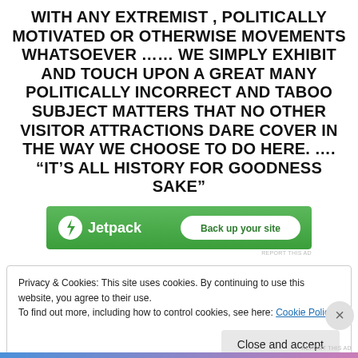WITH ANY EXTREMIST , POLITICALLY MOTIVATED OR OTHERWISE MOVEMENTS WHATSOEVER …… WE SIMPLY EXHIBIT AND TOUCH UPON A GREAT MANY POLITICALLY INCORRECT AND TABOO SUBJECT MATTERS THAT NO OTHER VISITOR ATTRACTIONS DARE COVER IN THE WAY WE CHOOSE TO DO HERE. …. “IT’S ALL HISTORY FOR GOODNESS SAKE”
[Figure (other): Jetpack advertisement banner with green background, Jetpack logo and lightning bolt icon on left, white 'Back up your site' button on right]
Privacy & Cookies: This site uses cookies. By continuing to use this website, you agree to their use.
To find out more, including how to control cookies, see here: Cookie Policy
Close and accept